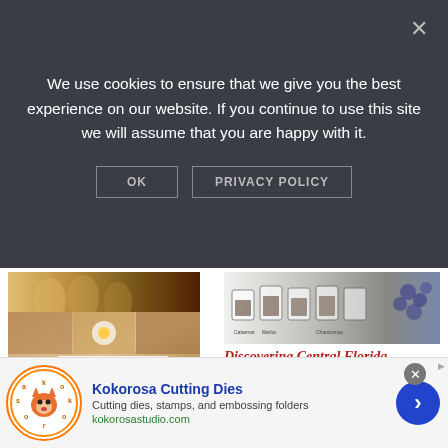We use cookies to ensure that we give you the best experience on our website. If you continue to use this site we will assume that you are happy with it.
OK
PRIVACY POLICY
[Figure (photo): Wine glasses with white/rose wine]
Iowa Wineries
[Figure (photo): Wine tasting cups/containers arranged in a row]
Discovering Central Florida Wineries
[Figure (photo): Food collage showing breakfast dishes with text 'Best Breakfast Restaurants In Denver, Colorado']
[Figure (logo): Kokorosa logo with fox illustration]
Kokorosa Cutting Dies
Cutting dies, stamps, and embossing folders
kokorosastudio.com